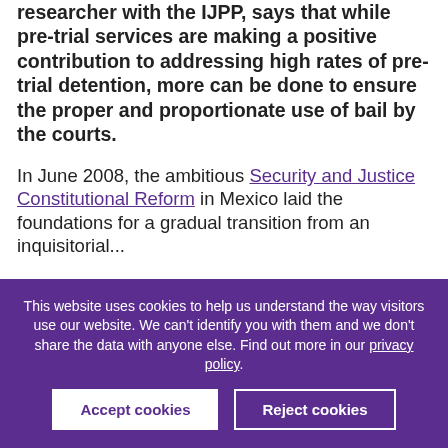researcher with the IJPP, says that while pre-trial services are making a positive contribution to addressing high rates of pre-trial detention, more can be done to ensure the proper and proportionate use of bail by the courts.
In June 2008, the ambitious Security and Justice Constitutional Reform in Mexico laid the foundations for a gradual transition from an inquisitorial...
This website uses cookies to help us understand the way visitors use our website. We can't identify you with them and we don't share the data with anyone else. Find out more in our privacy policy.